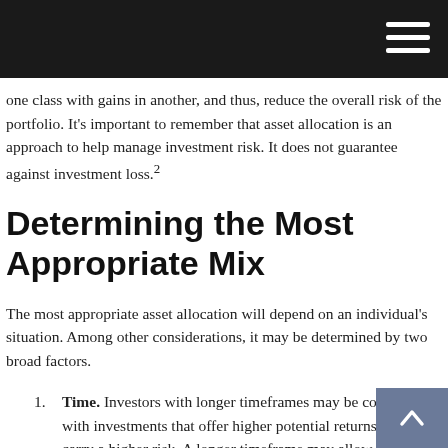one class with gains in another, and thus, reduce the overall risk of the portfolio. It's important to remember that asset allocation is an approach to help manage investment risk. It does not guarantee against investment loss.²
Determining the Most Appropriate Mix
The most appropriate asset allocation will depend on an individual's situation. Among other considerations, it may be determined by two broad factors.
Time. Investors with longer timeframes may be comfortable with investments that offer higher potential returns, but also carry a higher risk. A longer timeframe may allow individuals to ride out the market's ups and downs. An investor with a shorter timeframe may need to